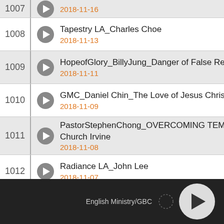1007 | 2018-11-16
1008 | Tapestry LA_Charles Choe | 2018-11-13
1009 | HopeofGlory_BillyJung_Danger of False Religio... | 2018-11-11
1010 | GMC_Daniel Chin_The Love of Jesus Christ | 2018-11-09
1011 | PastorStephenChong_OVERCOMING TEMPTA... Church Irvine | 2018-11-08
1012 | Radiance LA_John Lee | 2018-11-07
1013 | Tapestry LA_Charles Choe | 2018-11-05
English Ministry/GBC